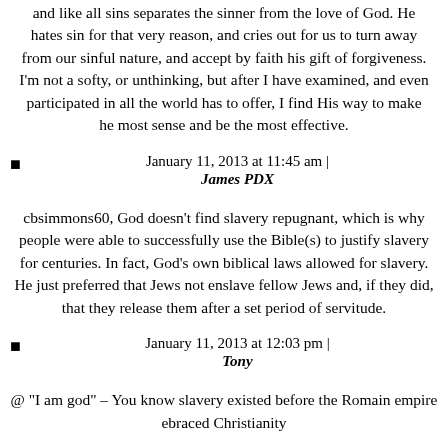and like all sins separates the sinner from the love of God. He hates sin for that very reason, and cries out for us to turn away from our sinful nature, and accept by faith his gift of forgiveness. I'm not a softy, or unthinking, but after I have examined, and even participated in all the world has to offer, I find His way to make he most sense and be the most effective.
January 11, 2013 at 11:45 am |
James PDX
cbsimmons60, God doesn't find slavery repugnant, which is why people were able to successfully use the Bible(s) to justify slavery for centuries. In fact, God's own biblical laws allowed for slavery. He just preferred that Jews not enslave fellow Jews and, if they did, that they release them after a set period of servitude.
January 11, 2013 at 12:03 pm |
Tony
@ "I am god" – You know slavery existed before the Romain empire ebraced Christianity